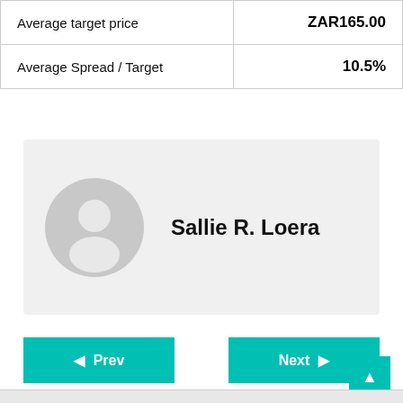|  |  |
| --- | --- |
| Average target price | ZAR165.00 |
| Average Spread / Target | 10.5% |
[Figure (other): User profile card with grey avatar icon and name Sallie R. Loera on light grey background]
Sallie R. Loera
Prev | Next navigation buttons